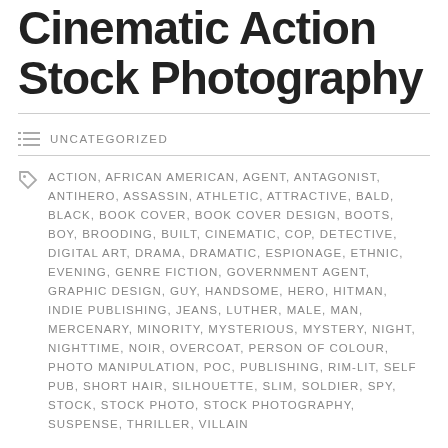Cinematic Action Stock Photography
UNCATEGORIZED
ACTION, AFRICAN AMERICAN, AGENT, ANTAGONIST, ANTIHERO, ASSASSIN, ATHLETIC, ATTRACTIVE, BALD, BLACK, BOOK COVER, BOOK COVER DESIGN, BOOTS, BOY, BROODING, BUILT, CINEMATIC, COP, DETECTIVE, DIGITAL ART, DRAMA, DRAMATIC, ESPIONAGE, ETHNIC, EVENING, GENRE FICTION, GOVERNMENT AGENT, GRAPHIC DESIGN, GUY, HANDSOME, HERO, HITMAN, INDIE PUBLISHING, JEANS, LUTHER, MALE, MAN, MERCENARY, MINORITY, MYSTERIOUS, MYSTERY, NIGHT, NIGHTTIME, NOIR, OVERCOAT, PERSON OF COLOUR, PHOTO MANIPULATION, POC, PUBLISHING, RIM-LIT, SELF PUB, SHORT HAIR, SILHOUETTE, SLIM, SOLDIER, SPY, STOCK, STOCK PHOTO, STOCK PHOTOGRAPHY, SUSPENSE, THRILLER, VILLAIN